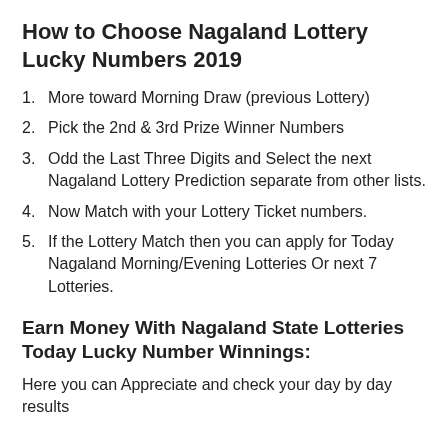How to Choose Nagaland Lottery Lucky Numbers 2019
1. More toward Morning Draw (previous Lottery)
2. Pick the 2nd & 3rd Prize Winner Numbers
3. Odd the Last Three Digits and Select the next Nagaland Lottery Prediction separate from other lists.
4. Now Match with your Lottery Ticket numbers.
5. If the Lottery Match then you can apply for Today Nagaland Morning/Evening Lotteries Or next 7 Lotteries.
Earn Money With Nagaland State Lotteries Today Lucky Number Winnings:
Here you can Appreciate and check your day by day results